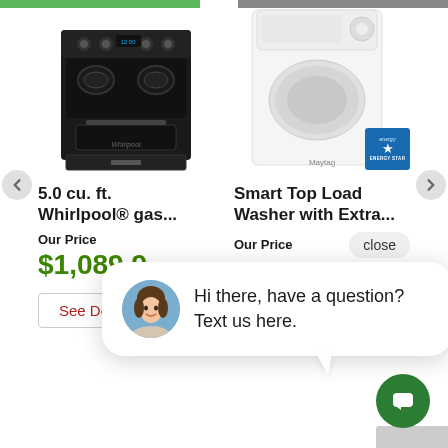[Figure (screenshot): Product listing page showing two appliances side by side. Left: black Whirlpool gas range. Right: white Smart Top Load Washer with Energy Star badge. Navigation arrows visible. Chat overlay with woman avatar and text 'Hi there, have a question? Text us here.' and a close button. Green chat launcher button in bottom right.]
5.0 cu. ft. Whirlpool® gas...
Our Price
$1,089.99
See De...
Smart Top Load Washer with Extra...
Our Price
$949.99
close
Hi there, have a question? Text us here.